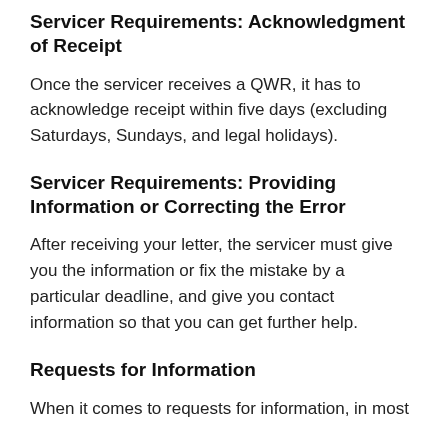Servicer Requirements: Acknowledgment of Receipt
Once the servicer receives a QWR, it has to acknowledge receipt within five days (excluding Saturdays, Sundays, and legal holidays).
Servicer Requirements: Providing Information or Correcting the Error
After receiving your letter, the servicer must give you the information or fix the mistake by a particular deadline, and give you contact information so that you can get further help.
Requests for Information
When it comes to requests for information, in most